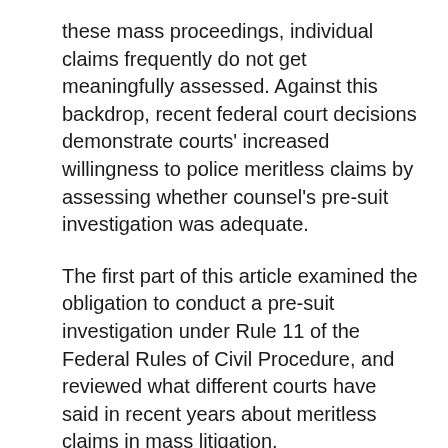these mass proceedings, individual claims frequently do not get meaningfully assessed. Against this backdrop, recent federal court decisions demonstrate courts' increased willingness to police meritless claims by assessing whether counsel's pre-suit investigation was adequate.
The first part of this article examined the obligation to conduct a pre-suit investigation under Rule 11 of the Federal Rules of Civil Procedure, and reviewed what different courts have said in recent years about meritless claims in mass litigation.
This part will discuss the importance of conducting plaintiff interviews, gathering basic information, avoiding language copied from dissimilar complaints and other issues.